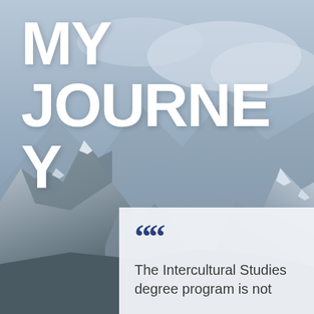[Figure (photo): Mountain landscape with snow-capped peaks and overcast sky, blue-gray tones]
MY JOURNEY
“ The Intercultural Studies degree program is not